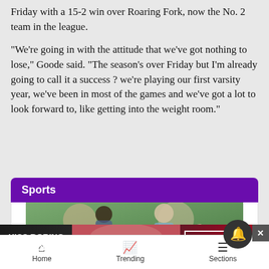Friday with a 15-2 win over Roaring Fork, now the No. 2 team in the league.
“We’re going in with the attitude that we’ve got nothing to lose,” Goode said. “The season’s over Friday but I’m already going to call it a success – we’re playing our first varsity year, we’ve been in most of the games and we’ve got a lot to look forward to, like getting into the weight room.”
Sports
[Figure (photo): Two people outdoors, a woman with hair up and a man with gray beard gesturing]
[Figure (photo): Advertisement: KISS BORING LIPS GOODBYE - SHOP NOW - Macy's, showing woman with red lips]
Home   Trending   Sections